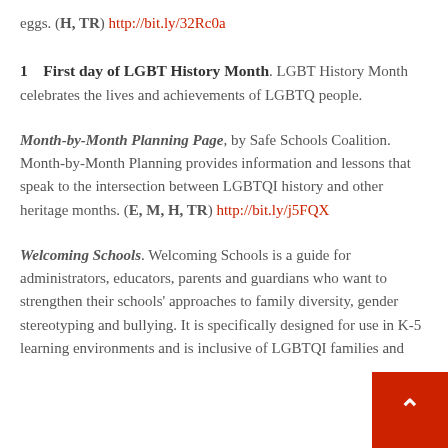eggs. (H, TR) http://bit.ly/32Rc0a
1   First day of LGBT History Month. LGBT History Month celebrates the lives and achievements of LGBTQ people.
Month-by-Month Planning Page, by Safe Schools Coalition. Month-by-Month Planning provides information and lessons that speak to the intersection between LGBTQI history and other heritage months. (E, M, H, TR) http://bit.ly/j5FQX
Welcoming Schools. Welcoming Schools is a guide for administrators, educators, parents and guardians who want to strengthen their schools' approaches to family diversity, gender stereotyping and bullying. It is specifically designed for use in K-5 learning environments and is inclusive of LGBTQI families and